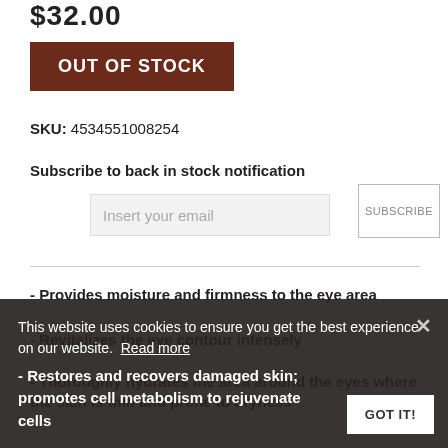$32.00
OUT OF STOCK
SKU: 4534551008254
Subscribe to back in stock notification
Insert your email
SUBSCRIBE
- Provides moisture and firmness to the eye area
- Revitalizes the eye contour intensely
- Thoroughly hydrates the area around the eyes where the skin is thin and prone to dryness
- Restores and recovers damaged skin; promotes cell metabolism to rejuvenate cells
This website uses cookies to ensure you get the best experience on our website. Read more
GOT IT!